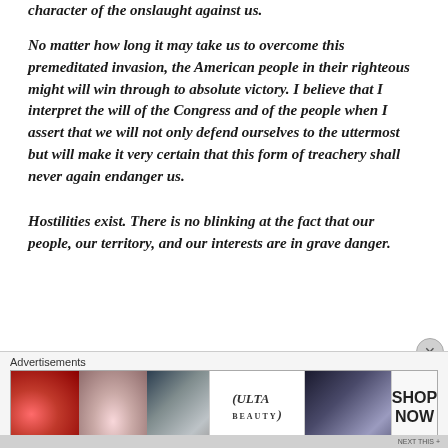character of the onslaught against us.
No matter how long it may take us to overcome this premeditated invasion, the American people in their righteous might will win through to absolute victory. I believe that I interpret the will of the Congress and of the people when I assert that we will not only defend ourselves to the uttermost but will make it very certain that this form of treachery shall never again endanger us.
Hostilities exist. There is no blinking at the fact that our people, our territory, and our interests are in grave danger.
[Figure (advertisement): Ulta Beauty advertisement banner showing close-up images of lips with makeup, a makeup brush, eye with mascara, Ulta Beauty logo, another eye close-up, and a SHOP NOW call to action]
NEXT THIS +